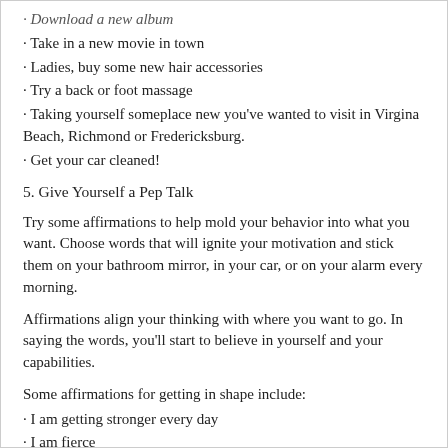· Download a new album
· Take in a new movie in town
· Ladies, buy some new hair accessories
· Try a back or foot massage
· Taking yourself someplace new you've wanted to visit in Virgina Beach, Richmond or Fredericksburg.
· Get your car cleaned!
5. Give Yourself a Pep Talk
Try some affirmations to help mold your behavior into what you want. Choose words that will ignite your motivation and stick them on your bathroom mirror, in your car, or on your alarm every morning.
Affirmations align your thinking with where you want to go. In saying the words, you'll start to believe in yourself and your capabilities.
Some affirmations for getting in shape include:
· I am getting stronger every day
· I am fierce
· I am on a path to fitness